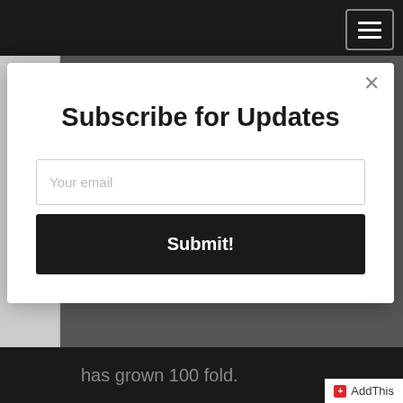was her ostensible reason for leaving, then I see it is what others pegged, she just didn't want to deal with ANY
[Figure (screenshot): Subscribe for Updates modal overlay with email input and Submit button on a webpage background]
has grown 100 fold.